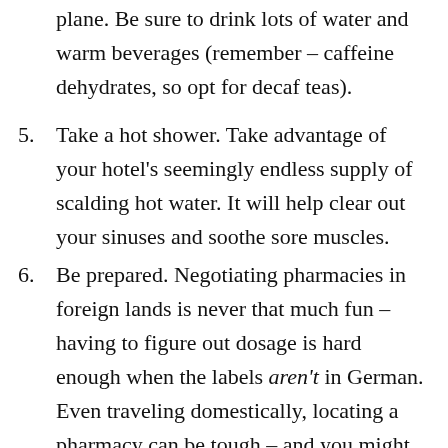plane. Be sure to drink lots of water and warm beverages (remember – caffeine dehydrates, so opt for decaf teas).
5. Take a hot shower. Take advantage of your hotel's seemingly endless supply of scalding hot water. It will help clear out your sinuses and soothe sore muscles.
6. Be prepared. Negotiating pharmacies in foreign lands is never that much fun – having to figure out dosage is hard enough when the labels aren't in German. Even traveling domestically, locating a pharmacy can be tough – and you might find yourself hindered by state laws (in Oregon, for example,